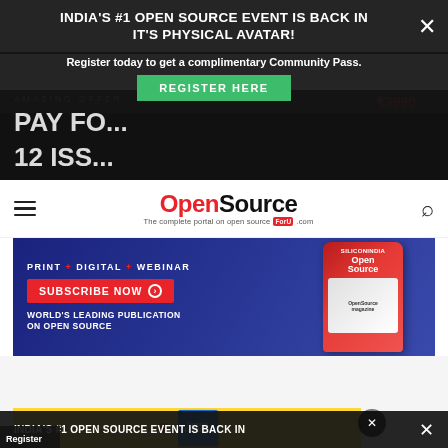INDIA'S #1 OPEN SOURCE EVENT IS BACK IN IT'S PHYSICAL AVATAR!
Register today to get a complimentary Community Pass.
REGISTER HERE
[Figure (logo): OpenSource ForU .com logo — The complete portal on open source]
[Figure (infographic): Subscribe banner: PRINT + DIGITAL + WEBINAR, SUBSCRIBE NOW button, WORLD'S LEADING PUBLICATION ON OPEN SOURCE, with phone showing OpenSource magazine]
INDIA'S #1 OPEN SOURCE EVENT IS BACK IN
Register
[Figure (infographic): Yellow advertisement banner with heart graphic and Computer Express magazine]